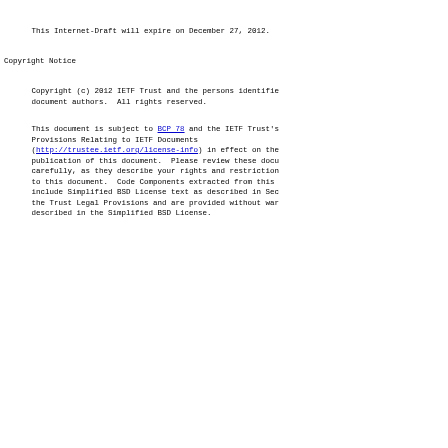This Internet-Draft will expire on December 27, 2012.
Copyright Notice
Copyright (c) 2012 IETF Trust and the persons identified
   document authors.  All rights reserved.
This document is subject to BCP 78 and the IETF Trust's
   Provisions Relating to IETF Documents
   (http://trustee.ietf.org/license-info) in effect on the
   publication of this document.  Please review these docu
   carefully, as they describe your rights and restriction
   to this document.  Code Components extracted from this
   include Simplified BSD License text as described in Sec
   the Trust Legal Provisions and are provided without war
   described in the Simplified BSD License.